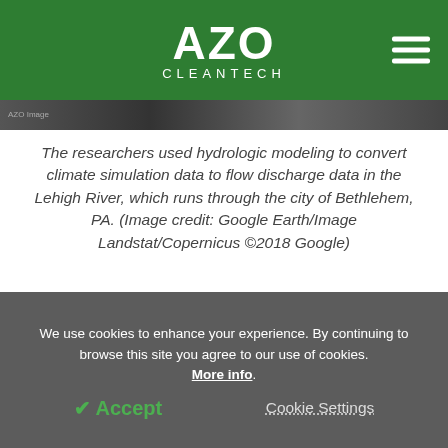AZO CLEANTECH
[Figure (photo): Aerial/satellite image strip of a river area (Lehigh River, Bethlehem PA), partially visible at top]
The researchers used hydrologic modeling to convert climate simulation data to flow discharge data in the Lehigh River, which runs through the city of Bethlehem, PA. (Image credit: Google Earth/Image Landstat/Copernicus ©2018 Google)
We know climate change will increase the
We use cookies to enhance your experience. By continuing to browse this site you agree to our use of cookies. More info.
Accept   Cookie Settings